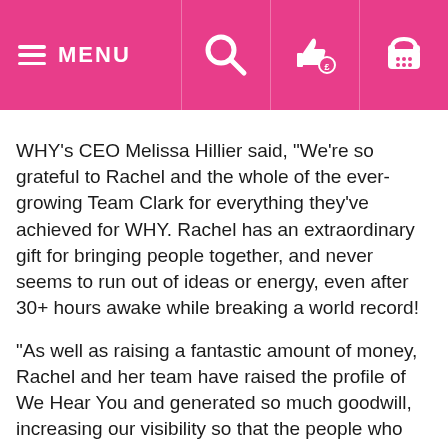MENU
WHY's CEO Melissa Hillier said, "We're so grateful to Rachel and the whole of the ever-growing Team Clark for everything they've achieved for WHY. Rachel has an extraordinary gift for bringing people together, and never seems to run out of ideas or energy, even after 30+ hours awake while breaking a world record!
"As well as raising a fantastic amount of money, Rachel and her team have raised the profile of We Hear You and generated so much goodwill, increasing our visibility so that the people who need us know we are here. Many thanks Rachel, we can't wait to hear what's next!"
Rachel's fundraising decade included completing The Cobble Wobble; The Bath Half; Frome to Land's End cycle non stop in 21hrs; The Coach pull; The Fire truck pull; The